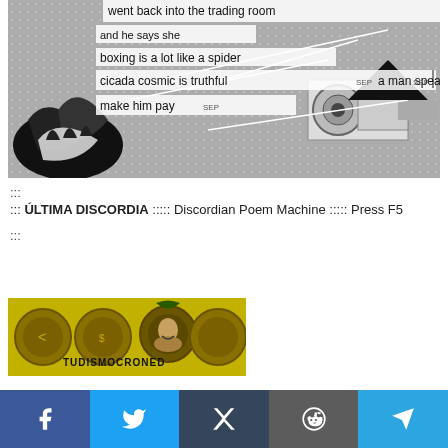[Figure (illustration): Black and white collage artwork with text overlays: 'went back into the trading room', 'and he says she', 'boxing is a lot like a spider', 'cicada cosmic is truthful SEP a man speaks of honor SEP', 'make him pay SEP'. Features tiger, machinery, geometric shapes.]
:::
::: ÚLTIMA DISCORDIA ::::: Discordian Poem Machine ::::: Press F5
:::
[Figure (illustration): TUDISMOCRONED logo image with golden/yellow background, circular emblems, and man's portrait in center.]
KSTYLBandits Glitch Hack Beat Nooian Tali... and Not and...